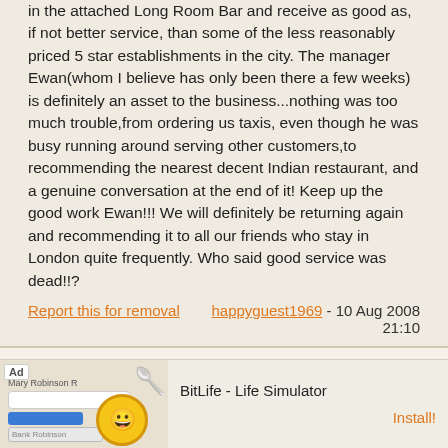in the attached Long Room Bar and receive as good as, if not better service, than some of the less reasonably priced 5 star establishments in the city. The manager Ewan(whom I believe has only been there a few weeks) is definitely an asset to the business...nothing was too much trouble,from ordering us taxis, even though he was busy running around serving other customers,to recommending the nearest decent Indian restaurant, and a genuine conversation at the end of it! Keep up the good work Ewan!!! We will definitely be returning again and recommending it to all our friends who stay in London quite frequently. Who said good service was dead!!?
Report this for removal   happyguest1969 - 10 Aug 2008 21:10
Wow, the new manager is certainly setting his mark on the place. He is either stoned and stinking of weed or drunk! I am a... ng a "grea... ...s
[Figure (screenshot): Mobile advertisement banner for BitLife - Life Simulator app, showing 'Ad' label, mock app UI with forms and a yellow emoji face, app name 'BitLife - Life Simulator', and an 'Install!' button.]